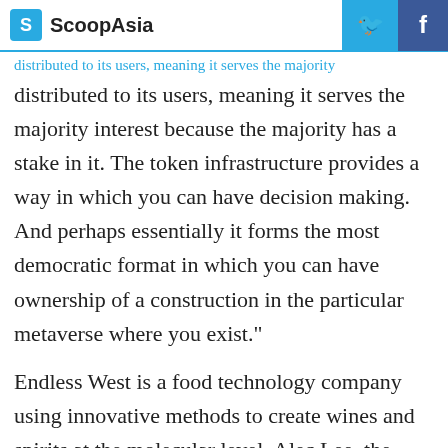ScoopAsia
distributed to its users, meaning it serves the majority interest because the majority has a stake in it. The token infrastructure provides a way in which you can have decision making. And perhaps essentially it forms the most democratic format in which you can have ownership of a construction in the particular metaverse where you exist."
Endless West is a food technology company using innovative methods to create wines and spirits at the molecular level. Alec Lee, the company's Co-founder and CEO, said that its new production process ensures consistency in flavour when compared to the